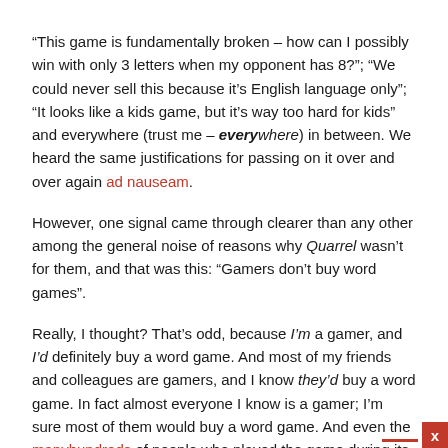"This game is fundamentally broken – how can I possibly win with only 3 letters when my opponent has 8?"; "We could never sell this because it's English language only"; "It looks like a kids game, but it's way too hard for kids" and everywhere (trust me – everywhere) in between. We heard the same justifications for passing on it over and over again ad nauseam.
However, one signal came through clearer than any other among the general noise of reasons why Quarrel wasn't for them, and that was this: "Gamers don't buy word games".
Really, I thought? That's odd, because I'm a gamer, and I'd definitely buy a word game. And most of my friends and colleagues are gamers, and I know they'd buy a word game. In fact almost everyone I know is a gamer; I'm sure most of them would buy a word game. And even the manyhundreds of people who played the game during its development said they'd buy a word game. Providing it was good of course. So are you absolutely certain gamers don't buy word games?